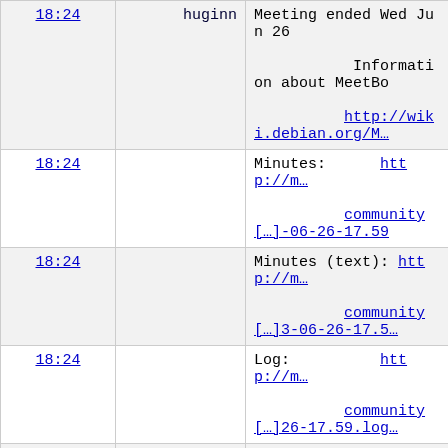| time | user | message |
| --- | --- | --- |
| 18:24 | huginn | Meeting ended Wed Jun 26
 Information about MeetBo
http://wiki.debian.org/M… |
| 18:24 |  | Minutes:      http://m…
community[…]-06-26-17.59 |
| 18:24 |  | Minutes (text): http://m…
community[…]3-06-26-17.5… |
| 18:24 |  | Log:          http://m…
community[…]26-17.59.log… |
| 18:24 | slef | thanks nancyk |
| 18:24 | Brooke | thanks |
| 18:24 |  | that was short |
| 18:24 | bag | agreed thanks nancyk |
| 18:24 | slef | I'd update the wiki, but
away :( |
| 18:25 | druthb | nancyk++ |
| 18:25 | pianohacker | karma! |